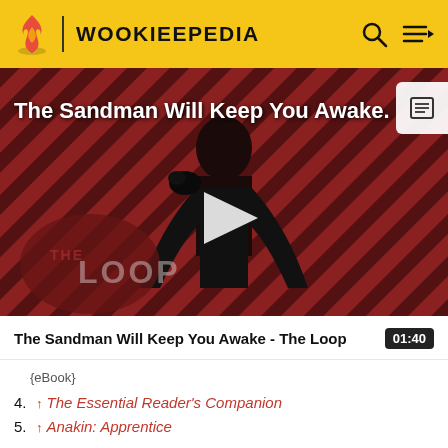WOOKIEEPEDIA
[Figure (screenshot): Video thumbnail for 'The Sandman Will Keep You Awake - The Loop' showing a dark-clad figure against a red and black diagonal striped background with 'THE LOOP' text logo overlay and a play button in the center]
The Sandman Will Keep You Awake - The Loop
01:40
{eBook}
4. ↑ The Essential Reader's Companion
5. ↑ Anakin: Apprentice